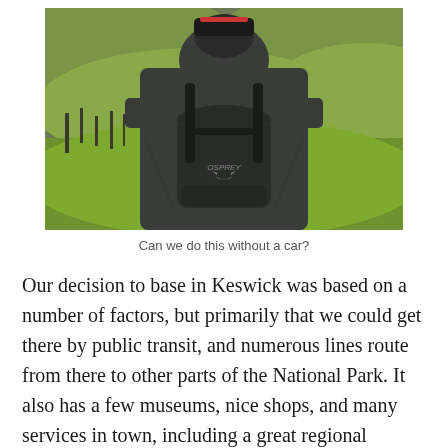[Figure (photo): Person seen from behind wearing a dark grey jacket and an Osprey backpack, looking out over green rolling hills with bare trees in a valley landscape.]
Can we do this without a car?
Our decision to base in Keswick was based on a number of factors, but primarily that we could get there by public transit, and numerous lines route from there to other parts of the National Park. It also has a few museums, nice shops, and many services in town, including a great regional supermarket,